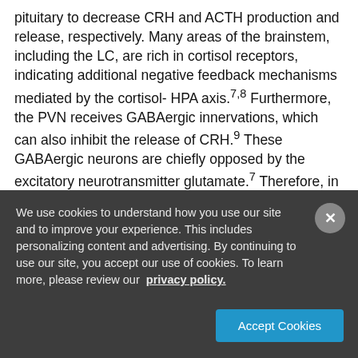pituitary to decrease CRH and ACTH production and release, respectively. Many areas of the brainstem, including the LC, are rich in cortisol receptors, indicating additional negative feedback mechanisms mediated by the cortisol- HPA axis.7,8 Furthermore, the PVN receives GABAergic innervations, which can also inhibit the release of CRH.9 These GABAergic neurons are chiefly opposed by the excitatory neurotransmitter glutamate.7 Therefore, in addition to negative feedback signaling by cortisol, HPA axis regulation also includes NE, GABA, and glutamate
We use cookies to understand how you use our site and to improve your experience. This includes personalizing content and advertising. By continuing to use our site, you accept our use of cookies. To learn more, please review our privacy policy.
Accept Cookies